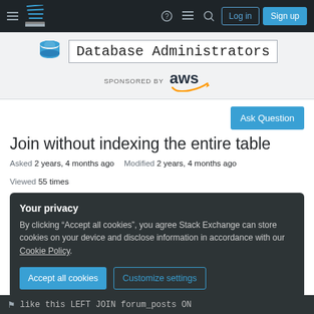Navigation bar with hamburger menu, Database Administrators logo, question mark icon, chat icon, search icon, Log in button, Sign up button
[Figure (logo): Database Administrators Stack Exchange logo with blue database icon and site title, sponsored by AWS]
SPONSORED BY aws
Ask Question
Join without indexing the entire table
Asked 2 years, 4 months ago   Modified 2 years, 4 months ago   Viewed 55 times
Your privacy
By clicking “Accept all cookies”, you agree Stack Exchange can store cookies on your device and disclose information in accordance with our Cookie Policy.
Accept all cookies   Customize settings
like this LEFT JOIN forum_posts ON